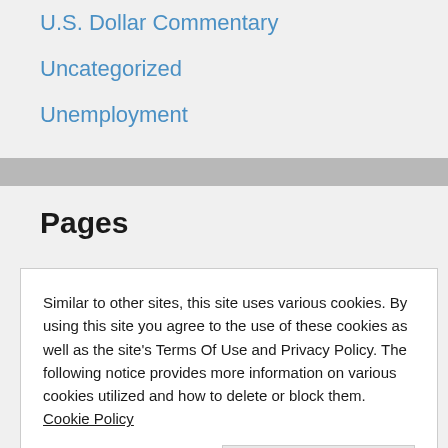U.S. Dollar Commentary
Uncategorized
Unemployment
Pages
Similar to other sites, this site uses various cookies. By using this site you agree to the use of these cookies as well as the site's Terms Of Use and Privacy Policy. The following notice provides more information on various cookies utilized and how to delete or block them. Cookie Policy
Article Directory
“America’s Economic Future –